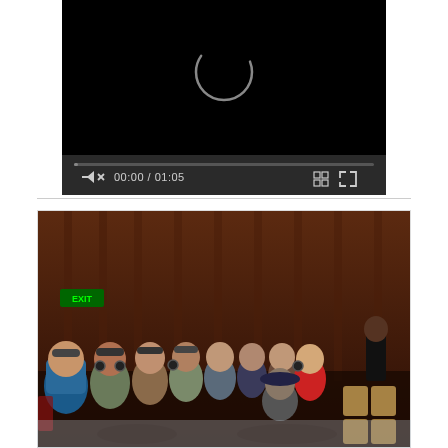[Figure (screenshot): Video player with black screen showing a loading spinner (circular arc icon). Below the video area is a progress bar and controls showing a muted speaker icon, timestamp '00:00 / 01:05', a grid/chapters icon, and a fullscreen icon. Controls are on a dark gray bar.]
[Figure (photo): Photograph of an audience seated in a theater/auditorium with dark wood-paneled walls. Many audience members are wearing headphones. A green EXIT sign is visible on the upper left wall. A person in black stands at the far right of the space. An empty row of tan/wooden seats is visible on the right side. The image is framed with a thin light border.]